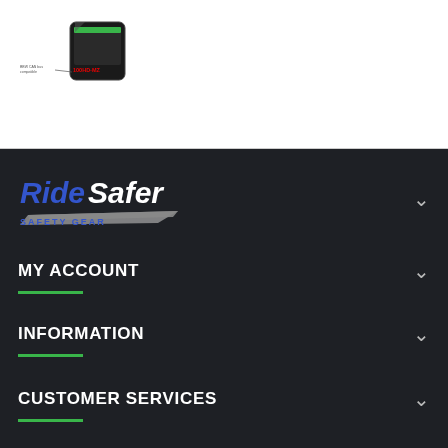[Figure (photo): Product photo of a small electronic device (100HD-MZ) with text labels]
[Figure (logo): RideSafer Safety Gear logo in blue and white with silver road graphic]
MY ACCOUNT
INFORMATION
CUSTOMER SERVICES